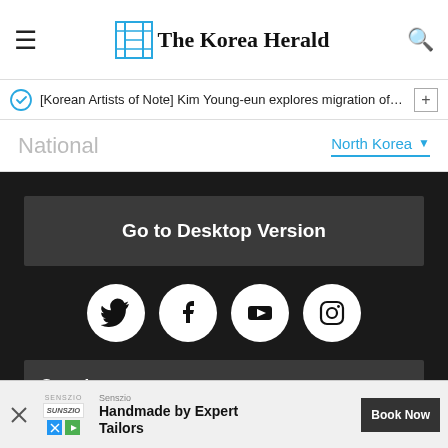The Korea Herald
[Korean Artists of Note] Kim Young-eun explores migration of sou···
National
North Korea ▼
Go to Desktop Version
[Figure (other): Social media icons: Twitter, Facebook, YouTube, Instagram]
Our site ▼
The Korea Herald by Herald Corporation
Copyright Herald Corporation. All Rights Reserved.
Address : Huam-ro 4-gil 10, Yongsan-gu, Seoul, Korea
Senszio
Handmade by Expert Tailors
Book Now